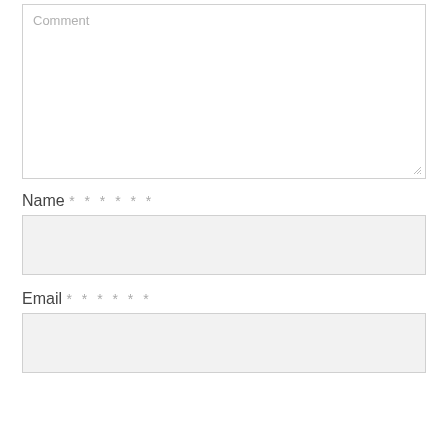[Figure (screenshot): Comment textarea form field with placeholder text 'Comment' and a resize handle at the bottom right corner]
Name * * * * * *
[Figure (screenshot): Name input text field with light gray background]
Email * * * * * *
[Figure (screenshot): Email input text field with light gray background]